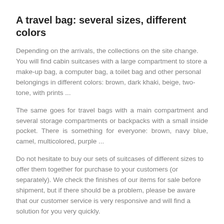A travel bag: several sizes, different colors
Depending on the arrivals, the collections on the site change. You will find cabin suitcases with a large compartment to store a make-up bag, a computer bag, a toilet bag and other personal belongings in different colors: brown, dark khaki, beige, two-tone, with prints ...
The same goes for travel bags with a main compartment and several storage compartments or backpacks with a small inside pocket. There is something for everyone: brown, navy blue, camel, multicolored, purple ...
Do not hesitate to buy our sets of suitcases of different sizes to offer them together for purchase to your customers (or separately). We check the finishes of our items for sale before shipment, but if there should be a problem, please be aware that our customer service is very responsive and will find a solution for you very quickly.